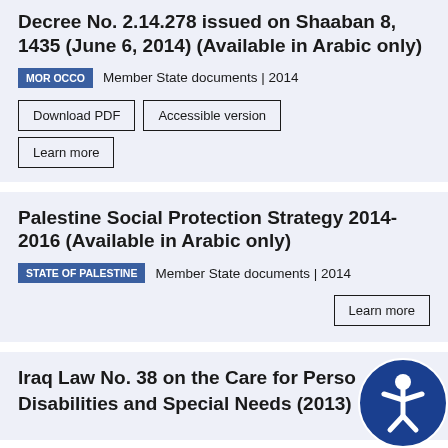Decree No. 2.14.278 issued on Shaaban 8, 1435 (June 6, 2014) (Available in Arabic only)
MOROCCO   Member State documents | 2014
Download PDF   Accessible version   Learn more
Palestine Social Protection Strategy 2014-2016 (Available in Arabic only)
STATE OF PALESTINE   Member State documents | 2014
Learn more
Iraq Law No. 38 on the Care for Persons with Disabilities and Special Needs (2013)